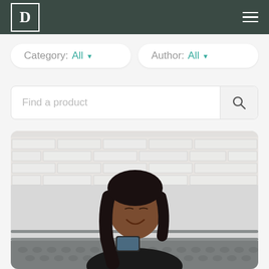D (logo) with hamburger menu
Category: All ▾   Author: All ▾
Find a product (search bar)
[Figure (photo): A woman with long dark hair smiling and looking down at her phone, standing against a white-painted brick wall with a metal bench/railing in front of it.]